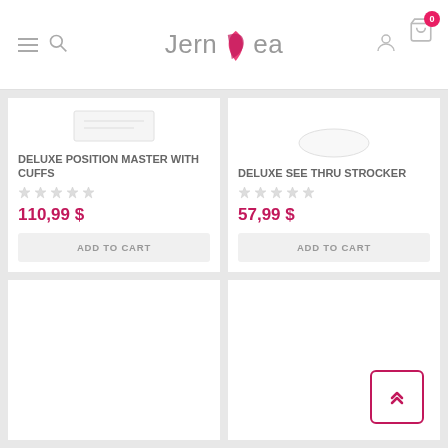Jernea — navigation header with hamburger menu, search, logo, user icon, and cart (0 items)
DELUXE POSITION MASTER WITH CUFFS
110,99 $
ADD TO CART
DELUXE SEE THRU STROCKER
57,99 $
ADD TO CART
[Figure (other): Empty product card (bottom left) — no product image visible]
[Figure (other): Empty product card (bottom right) with back-to-top chevron button]